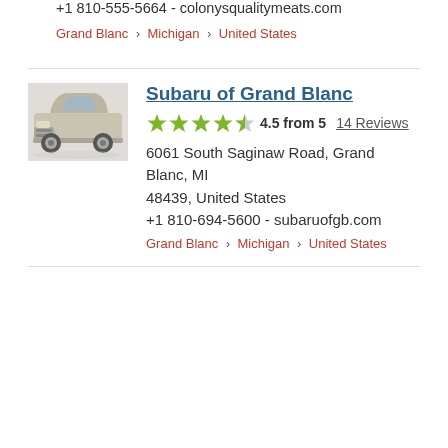+1 810-555-5664 - colonysqualitymeats.com
Grand Blanc › Michigan › United States
Subaru of Grand Blanc
4.5 from 5   14 Reviews
6061 South Saginaw Road, Grand Blanc, MI 48439, United States
+1 810-694-5600 - subaruofgb.com
Grand Blanc › Michigan › United States
[Figure (photo): Photo of a silver/beige Subaru SUV (front 3/4 view)]